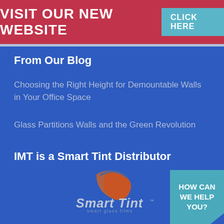VISIT OUR NEW WEBSITE  CLICK HERE
From Our Blog
Choosing the Right Height for Demountable Walls in Your Office Space
Glass Partitions Walls and the Green Revolution
IMT is a Smart Tint Distributor
[Figure (logo): Smart Tint logo with orange/red swoosh graphic and tagline 'smart glass films']
[Figure (other): HOW CAN WE HELP YOU? chat button in bottom right corner]